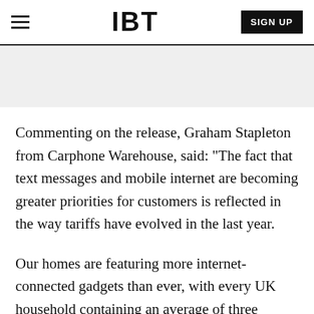IBT
Commenting on the release, Graham Stapleton from Carphone Warehouse, said: "The fact that text messages and mobile internet are becoming greater priorities for customers is reflected in the way tariffs have evolved in the last year.
Our homes are featuring more internet-connected gadgets than ever, with every UK household containing an average of three internet-connected